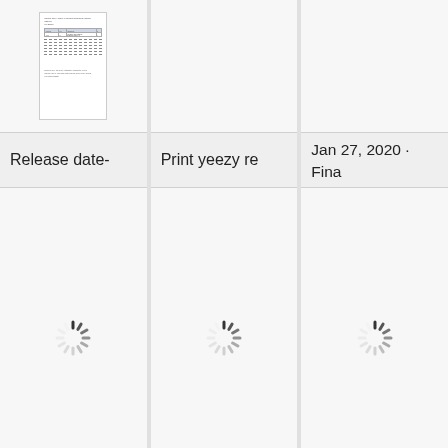[Figure (screenshot): Thumbnail of a document page showing text lines, a table with header row and one data row, dashed separator lines, and small footer text.]
[Figure (other): Empty/loading cell in top row, second column]
[Figure (other): Empty/loading cell in top row, third column]
Release date-
Print yeezy re
Jan 27, 2020 · Final mat Boos tran outs the
[Figure (other): Loading spinner icon in content cell, first column]
[Figure (other): Loading spinner icon in content cell, second column]
[Figure (other): Loading spinner icon in content cell, third column]